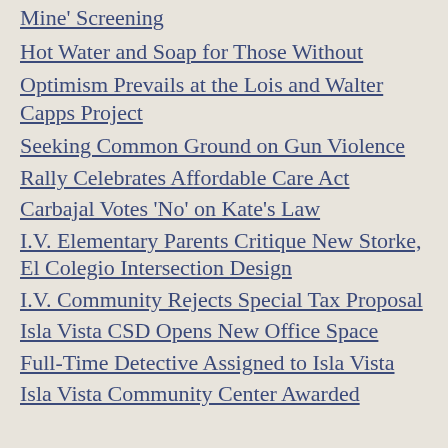Mine' Screening
Hot Water and Soap for Those Without
Optimism Prevails at the Lois and Walter Capps Project
Seeking Common Ground on Gun Violence
Rally Celebrates Affordable Care Act
Carbajal Votes 'No' on Kate's Law
I.V. Elementary Parents Critique New Storke, El Colegio Intersection Design
I.V. Community Rejects Special Tax Proposal
Isla Vista CSD Opens New Office Space
Full-Time Detective Assigned to Isla Vista
Isla Vista Community Center Awarded